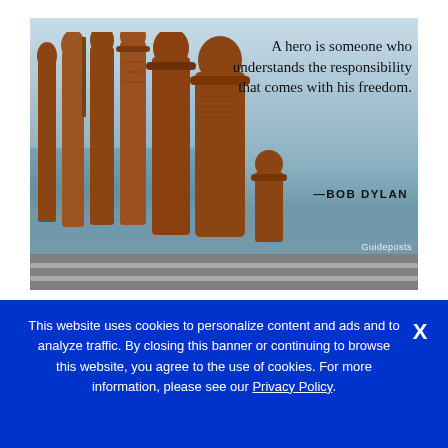[Figure (photo): Photo of rust-colored soldier silhouette sculptures standing on a walkway with ocean/sky background, overlaid with a Bob Dylan quote: 'A hero is someone who understands the responsibility that comes with his freedom. —BOB DYLAN']
This website uses cookies to personalize content and ads and to analyze traffic. By closing this banner or continuing to browse this website, you agree to the use of cookies. For more information, please see our Privacy Policy.